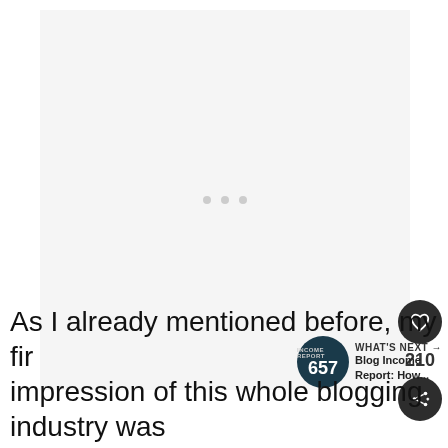[Figure (other): Gray placeholder image area with three light gray dots in the center, representing a loading or blank image slot]
[Figure (infographic): Social sidebar UI with a dark circular heart/like button, count '210', and a dark circular share button with plus icon]
[Figure (infographic): WHAT'S NEXT widget with a dark teal circular badge showing '657' and text 'Blog Income Report: How...' with arrow]
As I already mentioned before, my first impression of this whole blogging industry was